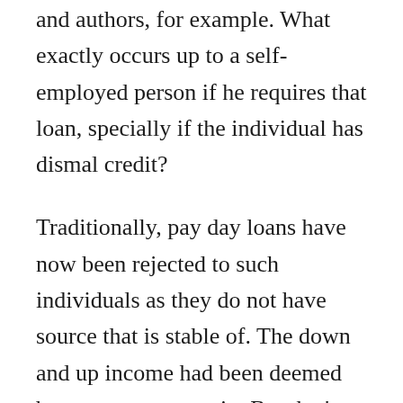and authors, for example. What exactly occurs up to a self-employed person if he requires that loan, specially if the individual has dismal credit?
Traditionally, pay day loans have now been rejected to such individuals as they do not have source that is stable of. The down and up income had been deemed because too uncertain. But that’s changing. Numerous loan providers are realizing that title loans